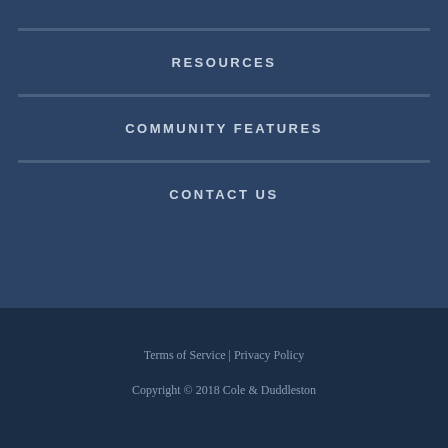RESOURCES
COMMUNITY FEATURES
CONTACT US
Terms of Service | Privacy Policy
Copyright © 2018 Cole & Duddleston